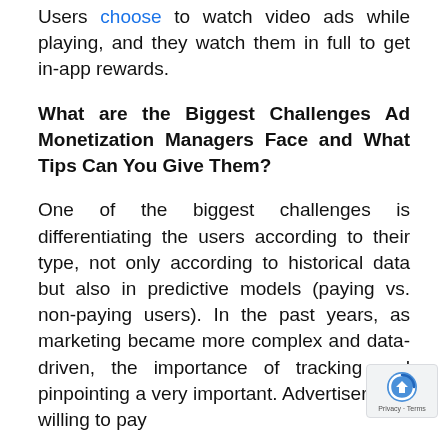Users choose to watch video ads while playing, and they watch them in full to get in-app rewards.
What are the Biggest Challenges Ad Monetization Managers Face and What Tips Can You Give Them?
One of the biggest challenges is differentiating the users according to their type, not only according to historical data but also in predictive models (paying vs. non-paying users). In the past years, as marketing became more complex and data-driven, the importance of tracking and pinpointing a very important. Advertisers are willing to pay